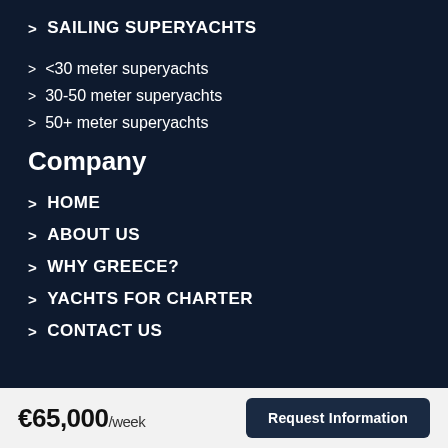> SAILING SUPERYACHTS
> <30 meter superyachts
> 30-50 meter superyachts
> 50+ meter superyachts
Company
> HOME
> ABOUT US
> WHY GREECE?
> YACHTS FOR CHARTER
> CONTACT US
€65,000/week  Request Information